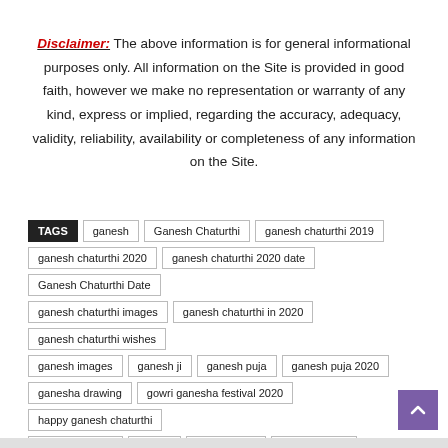Disclaimer: The above information is for general informational purposes only. All information on the Site is provided in good faith, however we make no representation or warranty of any kind, express or implied, regarding the accuracy, adequacy, validity, reliability, availability or completeness of any information on the Site.
TAGS: ganesh | Ganesh Chaturthi | ganesh chaturthi 2019 | ganesh chaturthi 2020 | ganesh chaturthi 2020 date | Ganesh Chaturthi Date | ganesh chaturthi images | ganesh chaturthi in 2020 | ganesh chaturthi wishes | ganesh images | ganesh ji | ganesh puja | ganesh puja 2020 | ganesha drawing | gowri ganesha festival 2020 | happy ganesh chaturthi | lalbaugcha raja | modak | modak mold | modak recipe | vinayaka chavithi | When Is Ganesh Chaturthi